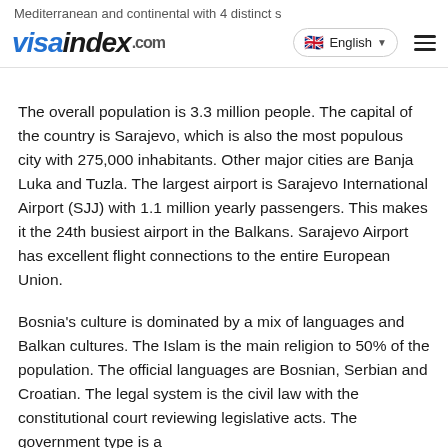Mediterranean and continental with 4 distinct seasons — visaindex.com — English
The overall population is 3.3 million people. The capital of the country is Sarajevo, which is also the most populous city with 275,000 inhabitants. Other major cities are Banja Luka and Tuzla. The largest airport is Sarajevo International Airport (SJJ) with 1.1 million yearly passengers. This makes it the 24th busiest airport in the Balkans. Sarajevo Airport has excellent flight connections to the entire European Union.
Bosnia's culture is dominated by a mix of languages and Balkan cultures. The Islam is the main religion to 50% of the population. The official languages are Bosnian, Serbian and Croatian. The legal system is the civil law with the constitutional court reviewing legislative acts. The government type is a parliamentary republic. The chief of state is